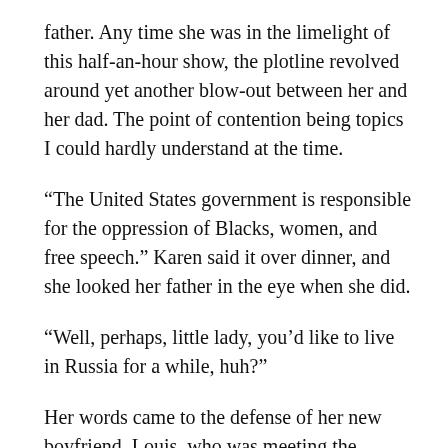father. Any time she was in the limelight of this half-an-hour show, the plotline revolved around yet another blow-out between her and her dad. The point of contention being topics I could hardly understand at the time.
“The United States government is responsible for the oppression of Blacks, women, and free speech.” Karen said it over dinner, and she looked her father in the eye when she did.
“Well, perhaps, little lady, you’d like to live in Russia for a while, huh?”
Her words came to the defense of her new boyfriend, Louis, who was meeting the Arnolds for the first time over dinner. Played by a young John Corbett, he was far different from the perfect-but-too-perfect love interest, Aidan Shaw, who he’d later portray in Sex and the City. As Louis, the more sight of his overgrown hair and